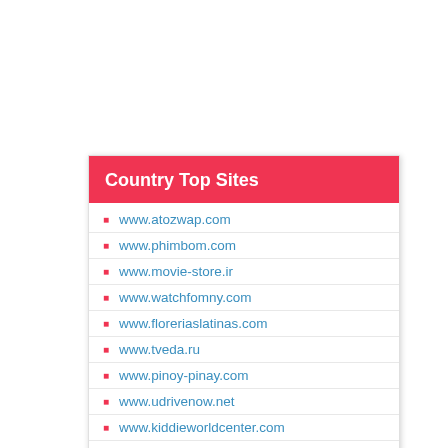Country Top Sites
www.atozwap.com
www.phimbom.com
www.movie-store.ir
www.watchfomny.com
www.floreriaslatinas.com
www.tveda.ru
www.pinoy-pinay.com
www.udrivenow.net
www.kiddieworldcenter.com
www.goroskop.ru
www.vixdeo.com